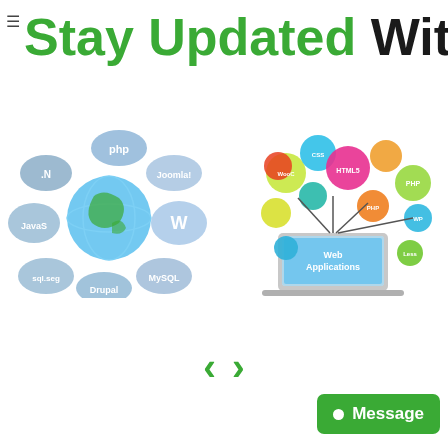Stay Updated With Us
[Figure (illustration): Circular arrangement of web technology logos (PHP, Joomla, WordPress, Drupal, MySQL, Java, .NET) around a globe icon]
[Figure (illustration): Colorful bubbles with web technology labels (HTML5, PHP, CSS, WP, etc.) above a laptop showing 'Web Applications']
[Figure (other): Navigation arrows left and right in green]
Message